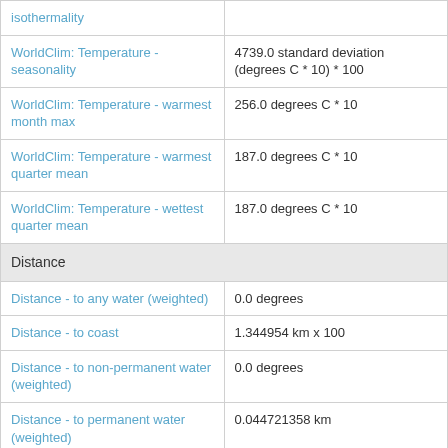| Variable | Value |
| --- | --- |
| isothermality |  |
| WorldClim: Temperature - seasonality | 4739.0 standard deviation (degrees C * 10) * 100 |
| WorldClim: Temperature - warmest month max | 256.0 degrees C * 10 |
| WorldClim: Temperature - warmest quarter mean | 187.0 degrees C * 10 |
| WorldClim: Temperature - wettest quarter mean | 187.0 degrees C * 10 |
| Distance |  |
| Distance - to any water (weighted) | 0.0 degrees |
| Distance - to coast | 1.344954 km x 100 |
| Distance - to non-permanent water (weighted) | 0.0 degrees |
| Distance - to permanent water (weighted) | 0.044721358 km |